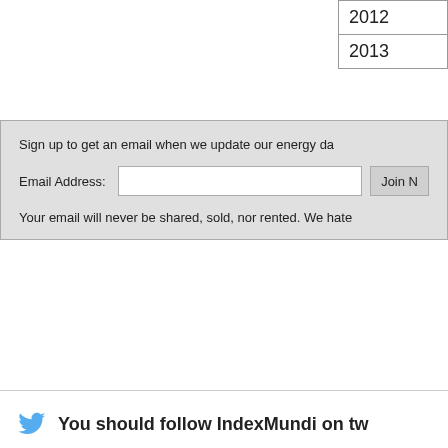| 2012 |
| 2013 |
Sign up to get an email when we update our energy da
Email Address:
Your email will never be shared, sold, nor rented. We hate
You should follow IndexMundi on tw